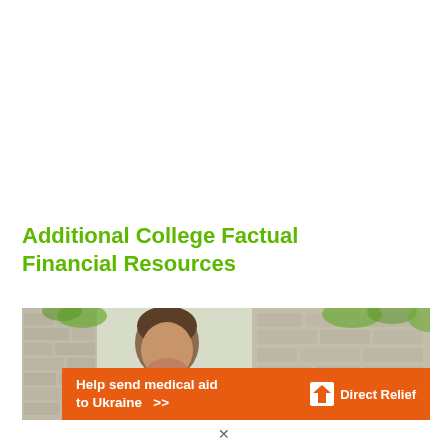Additional College Factual Financial Resources
[Figure (photo): Outdoor photo showing a person with brown hair looking down, with stone walls and green foliage in the background]
[Figure (infographic): Orange banner advertisement reading 'Help send medical aid to Ukraine >>' with Direct Relief logo on the right]